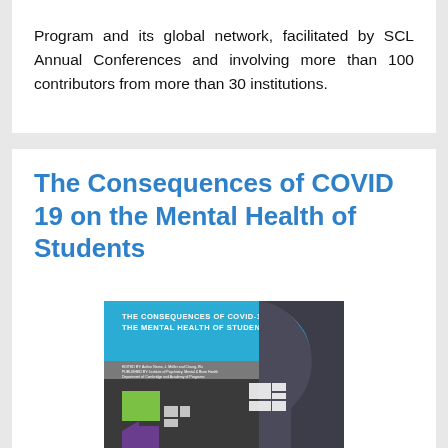Program and its global network, facilitated by SCL Annual Conferences and involving more than 100 contributors from more than 30 institutions.
The Consequences of COVID 19 on the Mental Health of Students
[Figure (illustration): Book cover of 'The Consequences of COVID-19 on the Mental Health of Students'. Blue top section with white text title, a dark silhouette of a human head profile on the right, colorful rectangular puzzle pieces on the lower left in green, purple, and white, on a dark background.]